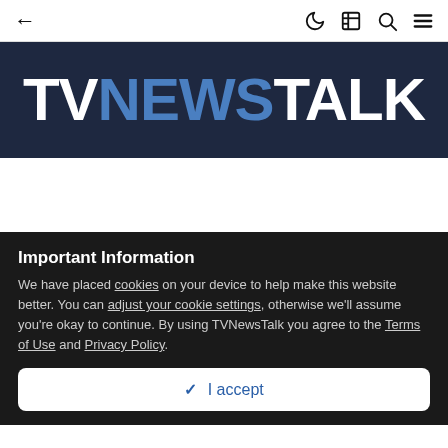← (navigation bar with back arrow, dark mode, news, search, menu icons)
[Figure (logo): TVNewsTalk logo on dark navy background. TV in white, NEWS in blue, TALK in white, bold large font.]
Important Information
We have placed cookies on your device to help make this website better. You can adjust your cookie settings, otherwise we'll assume you're okay to continue. By using TVNewsTalk you agree to the Terms of Use and Privacy Policy.
✓  I accept